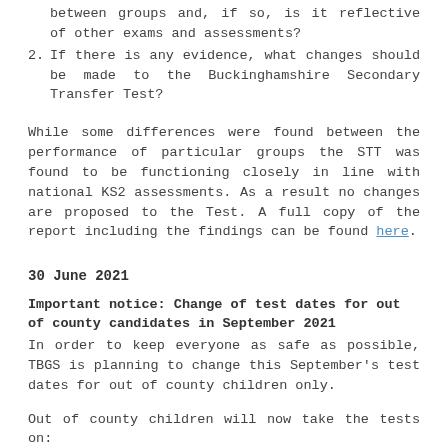between groups and, if so, is it reflective of other exams and assessments?
2. If there is any evidence, what changes should be made to the Buckinghamshire Secondary Transfer Test?
While some differences were found between the performance of particular groups the STT was found to be functioning closely in line with national KS2 assessments. As a result no changes are proposed to the Test. A full copy of the report including the findings can be found here.
30 June 2021
Important notice: Change of test dates for out of county candidates in September 2021
In order to keep everyone as safe as possible, TBGS is planning to change this September's test dates for out of county children only.
Out of county children will now take the tests on:
Saturday 4 September (anticipated)